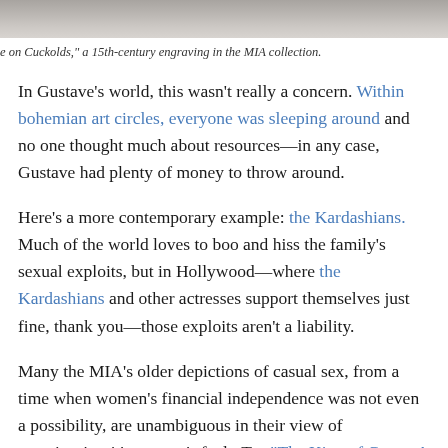[Figure (photo): Partial view of a historical engraving or document, top of page, grayscale]
e on Cuckolds," a 15th-century engraving in the MIA collection.
In Gustave's world, this wasn't really a concern. Within bohemian art circles, everyone was sleeping around and no one thought much about resources—in any case, Gustave had plenty of money to throw around.
Here's a more contemporary example: the Kardashians. Much of the world loves to boo and hiss the family's sexual exploits, but in Hollywood—where the Kardashians and other actresses support themselves just fine, thank you—those exploits aren't a liability.
Many the MIA's older depictions of casual sex, from a time when women's financial independence was not even a possibility, are unambiguous in their view of promiscuity: it's women's fault. Try "The King of Goats: A Satire on Cuckholds," circa 1460–1464. This surreal engraving shows a group of